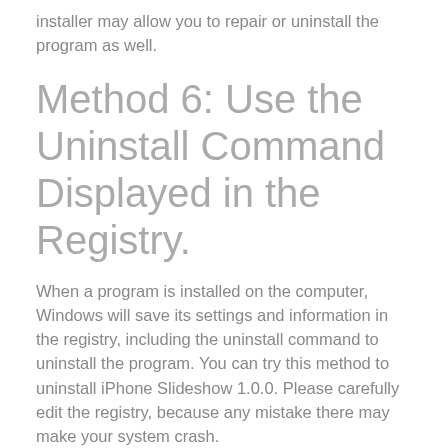installer may allow you to repair or uninstall the program as well.
Method 6: Use the Uninstall Command Displayed in the Registry.
When a program is installed on the computer, Windows will save its settings and information in the registry, including the uninstall command to uninstall the program. You can try this method to uninstall iPhone Slideshow 1.0.0. Please carefully edit the registry, because any mistake there may make your system crash.